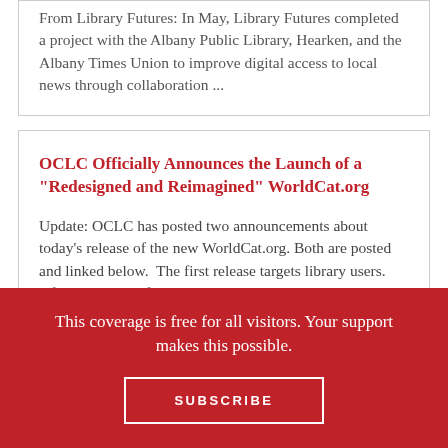From Library Futures: In May, Library Futures completed a project with the Albany Public Library, Hearken, and the Albany Times Union to improve digital access to local news through collaboration ...
OCLC Officially Announces the Launch of a "Redesigned and Reimagined" WorldCat.org
Update: OCLC has posted two announcements about today's release of the new WorldCat.org. Both are posted and linked below.  The first release targets library users. After that, you'll find
This coverage is free for all visitors. Your support makes this possible.
SUBSCRIBE